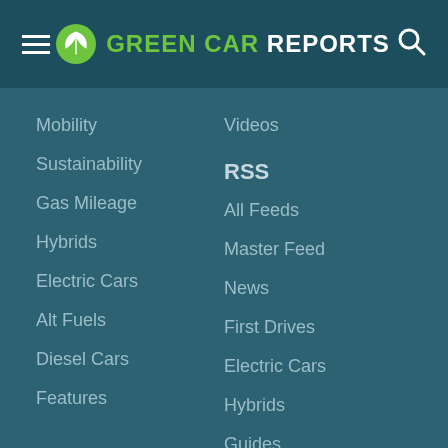GREEN CAR REPORTS
Mobility
Sustainability
Gas Mileage
Hybrids
Electric Cars
Alt Fuels
Diesel Cars
Features
Videos
RSS
All Feeds
Master Feed
News
First Drives
Electric Cars
Hybrids
Guides
Green Life
Company
About Us